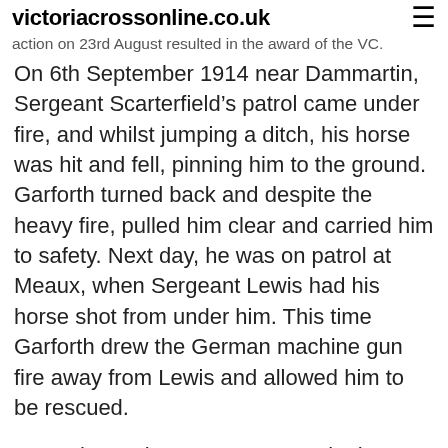victoriacrossonline.co.uk
action on 23rd August resulted in the award of the VC.
On 6th September 1914 near Dammartin, Sergeant Scarterfield’s patrol came under fire, and whilst jumping a ditch, his horse was hit and fell, pinning him to the ground. Garforth turned back and despite the heavy fire, pulled him clear and carried him to safety. Next day, he was on patrol at Meaux, when Sergeant Lewis had his horse shot from under him. This time Garforth drew the German machine gun fire away from Lewis and allowed him to be rescued.
On 13th October 1914 at Laventie, he was a member of a 13-man patrol commanded by Captain Bradshaw. They were surrounded but fought for three hours until 10 men were hit. Garforth was taken prisoner when his ammunition ran out. He was held at Hameln and Brohmte. He escaped three times, but was recaptured on each occasion, weak from a lack of food. He then given